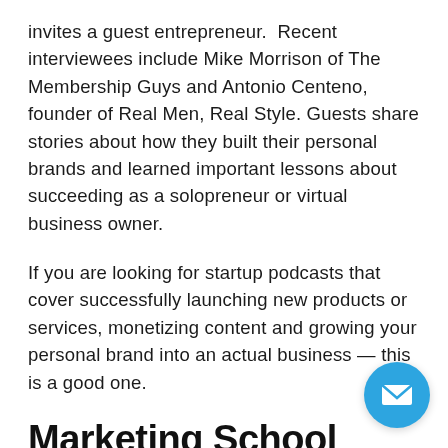invites a guest entrepreneur. Recent interviewees include Mike Morrison of The Membership Guys and Antonio Centeno, founder of Real Men, Real Style. Guests share stories about how they built their personal brands and learned important lessons about succeeding as a solopreneur or virtual business owner.
If you are looking for startup podcasts that cover successfully launching new products or services, monetizing content and growing your personal brand into an actual business — this is a good one.
Marketing School
If you're looking to improve your marketing but don't...